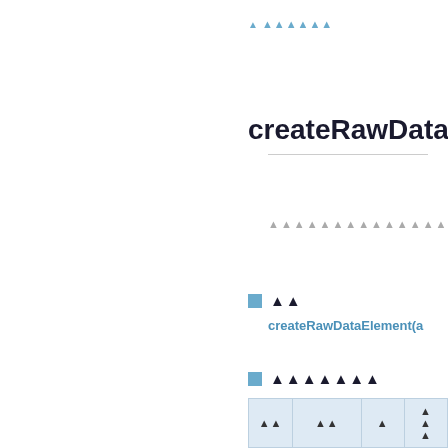▲ ▲▲▲▲▲▲
createRawDataEl
▲▲▲▲▲▲▲▲▲▲▲▲▲▲▲▲
▲▲
createRawDataElement(a
▲▲▲▲▲▲▲
| ▲▲ | ▲▲ | ▲ | ▲▲▲ |
| --- | --- | --- | --- |
| data | ▲▲▲▲▲ | String | ▲ |